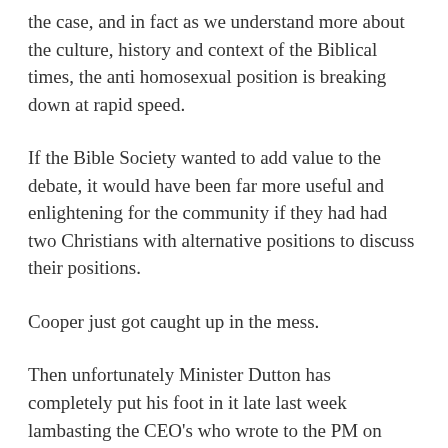the case, and in fact as we understand more about the culture, history and context of the Biblical times, the anti homosexual position is breaking down at rapid speed.
If the Bible Society wanted to add value to the debate, it would have been far more useful and enlightening for the community if they had had two Christians with alternative positions to discuss their positions.
Cooper just got caught up in the mess.
Then unfortunately Minister Dutton has completely put his foot in it late last week lambasting the CEO's who wrote to the PM on getting the issue of marriage equality solved